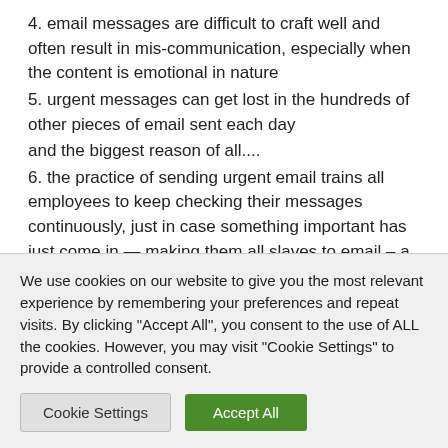4. email messages are difficult to craft well and often result in mis-communication, especially when the content is emotional in nature
5. urgent messages can get lost in the hundreds of other pieces of email sent each day
and the biggest reason of all....
6. the practice of sending urgent email trains all employees to keep checking their messages continuously, just in case something important has just come in — making them all slaves to email – a pernicious [text cut off]
We use cookies on our website to give you the most relevant experience by remembering your preferences and repeat visits. By clicking "Accept All", you consent to the use of ALL the cookies. However, you may visit "Cookie Settings" to provide a controlled consent.
Cookie Settings | Accept All